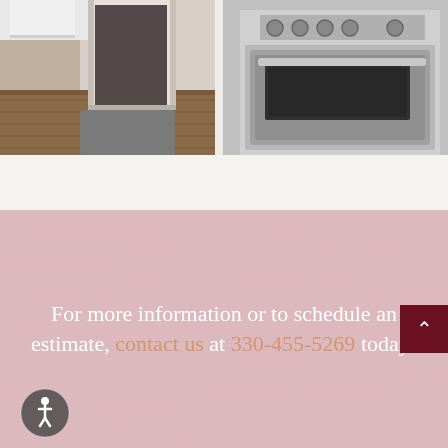[Figure (photo): Split photo showing a hallway/entryway with wood flooring and a gray mat on the left, and a stainless steel range/stove appliance on the right]
For more information or to schedule an estimate, contact us at 330-455-5269 today!